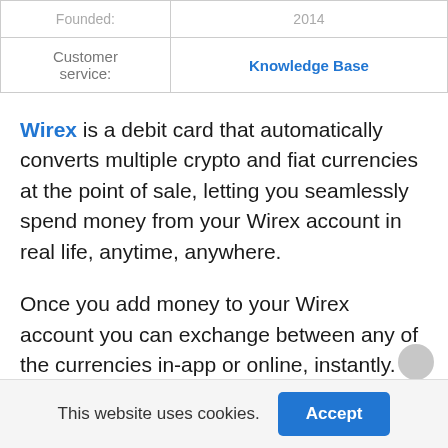|  |  |
| --- | --- |
| Founded: | 2014 |
| Customer service: | Knowledge Base |
Wirex is a debit card that automatically converts multiple crypto and fiat currencies at the point of sale, letting you seamlessly spend money from your Wirex account in real life, anytime, anywhere.
Once you add money to your Wirex account you can exchange between any of the currencies in-app or online, instantly.
This website uses cookies.